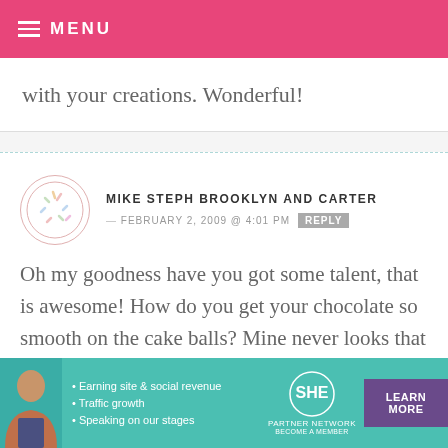MENU
with your creations. Wonderful!
MIKE STEPH BROOKLYN AND CARTER — FEBRUARY 2, 2009 @ 4:01 PM REPLY
Oh my goodness have you got some talent, that is awesome! How do you get your chocolate so smooth on the cake balls? Mine never looks that smooth!
[Figure (other): Ad banner for SHE Partner Network with bullet points: Earning site & social revenue, Traffic growth, Speaking on our stages. Includes LEARN MORE button.]